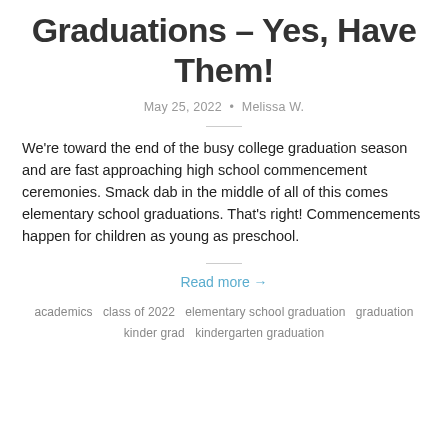Graduations – Yes, Have Them!
May 25, 2022 • Melissa W.
We're toward the end of the busy college graduation season and are fast approaching high school commencement ceremonies. Smack dab in the middle of all of this comes elementary school graduations. That's right! Commencements happen for children as young as preschool.
Read more →
academics   class of 2022   elementary school graduation   graduation   kinder grad   kindergarten graduation